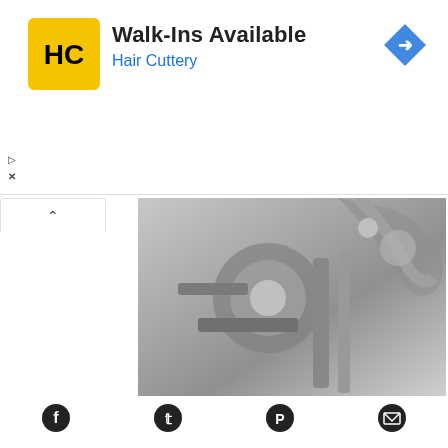[Figure (screenshot): Advertisement banner for Hair Cuttery showing logo (HC in yellow circle), text 'Walk-Ins Available' and 'Hair Cuttery' in blue, and a blue diamond navigation arrow icon on the right. Small play and close icons on the left.]
[Figure (photo): Black and white close-up photo of a Toyota GR Supra 2.0L engine turbo components — metallic turbocharger machinery and piping.]
The 2021 Toyota GR Supra 2.0L Twin-Scroll Turbo Gets It Done
Privacy & Cookies: This site uses cookies. By continuing to use this website, you agree to their use.
To find out more, including how to control cookies, see here:
Cookie Policy
Close and accept
[Figure (infographic): Social sharing icons row: Facebook, Twitter, Pinterest, Email]